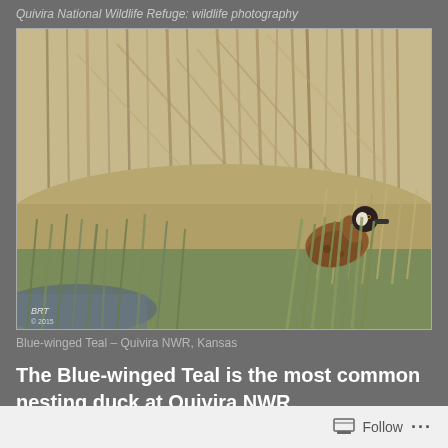Quivira National Wildlife Refuge: wildlife photography
[Figure (photo): A Blue-winged Teal duck partially hidden among tall golden and green marsh grasses at Quivira National Wildlife Refuge, Kansas. The duck has a dark brown body with a dark head and white facial marking. Photographer signature visible in lower left corner.]
Blue-winged Teal – Quivira NWR, Kansas
The Blue-winged Teal is the most common nesting duck at Quivira NWR.
Follow